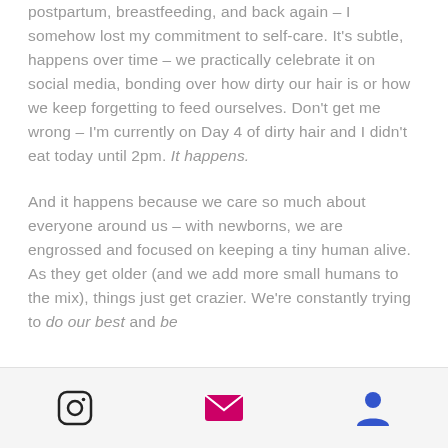postpartum, breastfeeding, and back again – I somehow lost my commitment to self-care. It's subtle, happens over time – we practically celebrate it on social media, bonding over how dirty our hair is or how we keep forgetting to feed ourselves. Don't get me wrong – I'm currently on Day 4 of dirty hair and I didn't eat today until 2pm. It happens.
And it happens because we care so much about everyone around us – with newborns, we are engrossed and focused on keeping a tiny human alive. As they get older (and we add more small humans to the mix), things just get crazier. We're constantly trying to do our best and be
[Figure (other): Bottom navigation bar with Instagram icon, email/envelope icon, and user profile icon]